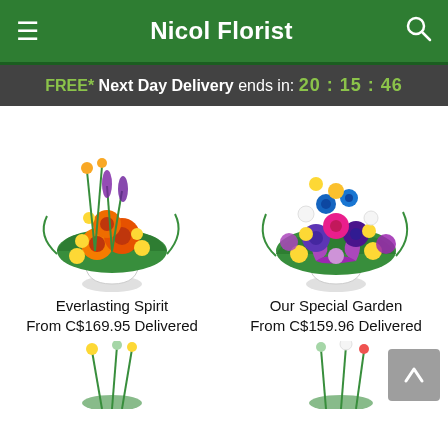Nicol Florist
FREE* Next Day Delivery ends in: 20:15:46
[Figure (photo): Floral arrangement called Everlasting Spirit - orange gerbera daisies, yellow button flowers, purple flowers, and green foliage in a white vase]
Everlasting Spirit
From C$169.95 Delivered
[Figure (photo): Floral arrangement called Our Special Garden - purple roses, pink roses, yellow daisy flowers, blue flowers, with a large purple satin bow in a white vase]
Our Special Garden
From C$159.96 Delivered
[Figure (photo): Partial view of a floral arrangement at the bottom left of the page]
[Figure (photo): Partial view of a floral arrangement at the bottom right of the page]